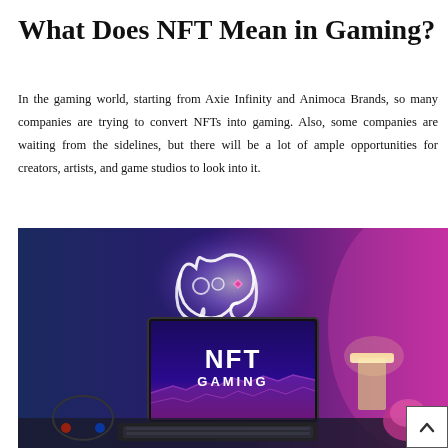What Does NFT Mean in Gaming?
In the gaming world, starting from Axie Infinity and Animoca Brands, so many companies are trying to convert NFTs into gaming. Also, some companies are waiting from the sidelines, but there will be a lot of ample opportunities for creators, artists, and game studios to look into it.
[Figure (photo): A gaming setup with a monitor displaying 'NFT GAMING' text, a glowing neon game controller overhead, and a colorful pink/purple/blue lit background. A keyboard, headset, and lamp are visible on the desk.]